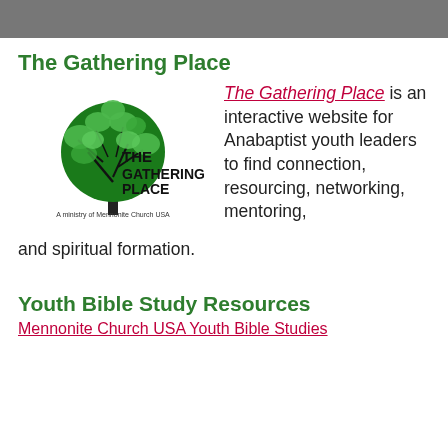[Figure (photo): Dark banner image at top of page]
The Gathering Place
[Figure (logo): The Gathering Place logo — tree with text 'THE GATHERING PLACE: A ministry of Mennonite Church USA']
The Gathering Place is an interactive website for Anabaptist youth leaders to find connection, resourcing, networking, mentoring, and spiritual formation.
Youth Bible Study Resources
Mennonite Church USA Youth Bible Studies